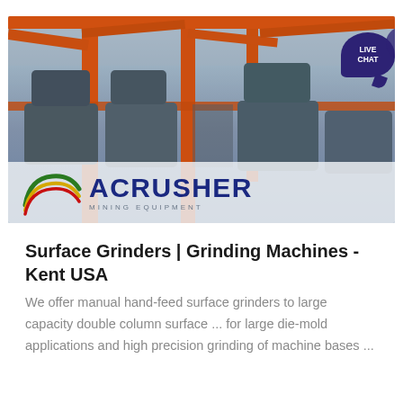[Figure (photo): Industrial mining/grinding machinery on an orange metal frame structure, with an ACRUSHER Mining Equipment logo overlay at the bottom of the photo. A 'LIVE CHAT' speech bubble badge appears in the upper right corner.]
Surface Grinders | Grinding Machines - Kent USA
We offer manual hand-feed surface grinders to large capacity double column surface ... for large die-mold applications and high precision grinding of machine bases ...